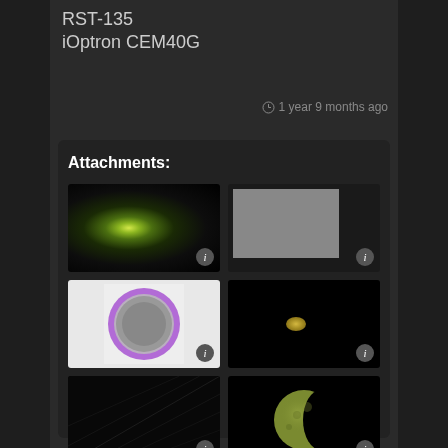RST-135
iOptron CEM40G
1 year 9 months ago
Attachments:
[Figure (photo): Astronomical image of a glowing star or nebula on dark background]
[Figure (photo): Gray flat calibration frame]
[Figure (photo): Flat frame showing circular vignetting pattern with purple halo on white/gray background]
[Figure (photo): Dark image with small bright yellow planetary body]
[Figure (photo): Dark diagonal grid pattern image]
[Figure (photo): Crescent/gibbous moon image with green-yellow tint on dark background]